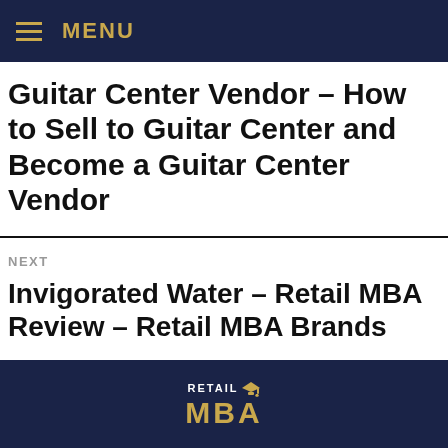MENU
Guitar Center Vendor – How to Sell to Guitar Center and Become a Guitar Center Vendor
NEXT
Invigorated Water – Retail MBA Review – Retail MBA Brands
[Figure (logo): Retail MBA logo — white text 'RETAIL' with graduation cap icon above gold 'MBA' text on dark navy background]